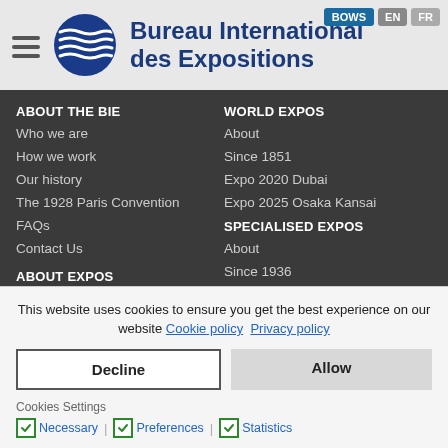[Figure (logo): Bureau International des Expositions logo with circular wave design and text header]
ABOUT THE BIE
Who we are
How we work
Our history
The 1928 Paris Convention
FAQs
Contact Us
ABOUT EXPOS
What is an Expo?
How to organise an Expo?
WORLD EXPOS
About
Since 1851
Expo 2020 Dubai
Expo 2025 Osaka Kansai
SPECIALISED EXPOS
About
Since 1936
HORTICULTURAL EXPOS
About
Since 1960
Expo 2022 Amsterdam-Almere
Expo 2023 Doha
TRIENNALE DI MILANO
About
This website uses cookies to ensure you get the best experience on our website Cookie policy Privacy policy
Decline | Allow
Cookies Settings
Necessary | Preferences | Statistics